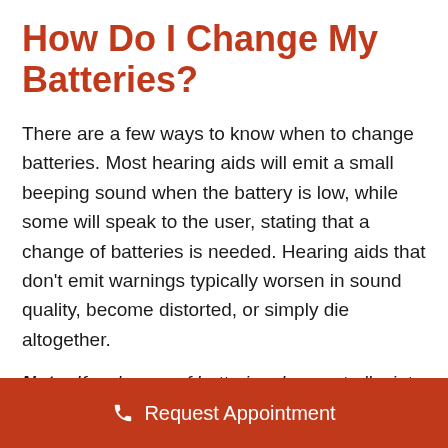How Do I Change My Batteries?
There are a few ways to know when to change batteries. Most hearing aids will emit a small beeping sound when the battery is low, while some will speak to the user, stating that a change of batteries is needed. Hearing aids that don't emit warnings typically worsen in sound quality, become distorted, or simply die altogether.
Note: If a change of batteries does not alleviate this problem, the device may be damaged, and it should be looked at by a [hearing specialist].
Request Appointment